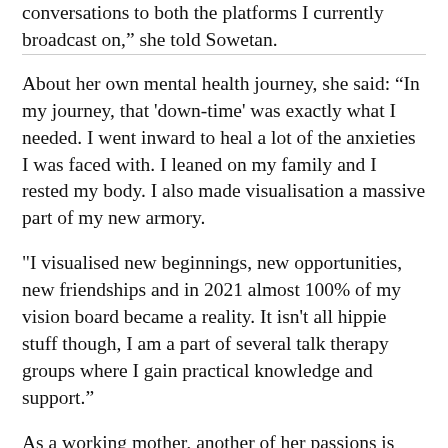conversations to both the platforms I currently broadcast on,” she told Sowetan.
About her own mental health journey, she said: “In my journey, that 'down-time' was exactly what I needed. I went inward to heal a lot of the anxieties I was faced with. I leaned on my family and I rested my body. I also made visualisation a massive part of my new armory.
"I visualised new beginnings, new opportunities, new friendships and in 2021 almost 100% of my vision board became a reality. It isn't all hippie stuff though, I am a part of several talk therapy groups where I gain practical knowledge and support.”
As a working mother, another of her passions is shining a light on the struggles that some women face day-to-day.
“What saddens me is when moms hold other moms to cruel and ridiculous standards. If we stick together, all the more we can achieve. I have tremendously loving moms around me and there is usually an ear to hear, me